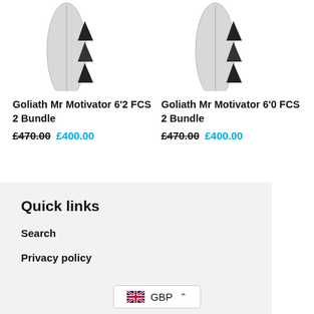[Figure (photo): Surfboard with fins - Goliath Mr Motivator 6'2 FCS 2 Bundle product image]
[Figure (photo): Surfboard with fins - Goliath Mr Motivator 6'0 FCS 2 Bundle product image]
Goliath Mr Motivator 6'2 FCS 2 Bundle £470.00 £400.00
Goliath Mr Motivator 6'0 FCS 2 Bundle £470.00 £400.00
Quick links
Search
Privacy policy